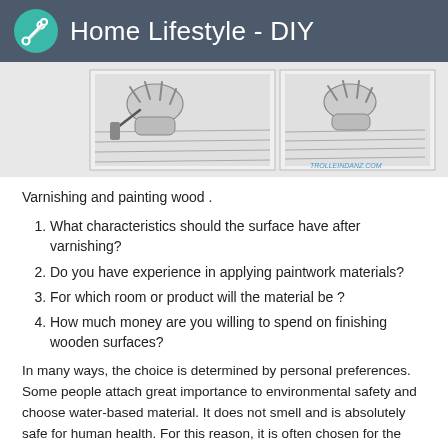Home Lifestyle - DIY
[Figure (illustration): Black and white illustration showing hands varnishing/painting wood surfaces, with watermark TROLLEINDANZ.COM]
Varnishing and painting wood .
1. What characteristics should the surface have after varnishing?
2. Do you have experience in applying paintwork materials?
3. For which room or product will the material be ?
4. How much money are you willing to spend on finishing wooden surfaces?
In many ways, the choice is determined by personal preferences. Some people attach great importance to environmental safety and choose water-based material. It does not smell and is absolutely safe for human health. For this reason, it is often chosen for the decoration of children's furniture. Professional furniture makers almost do not use it, because it gives the surface dullness after drying.
Alkyd species is easy to use and affordable, so they can be